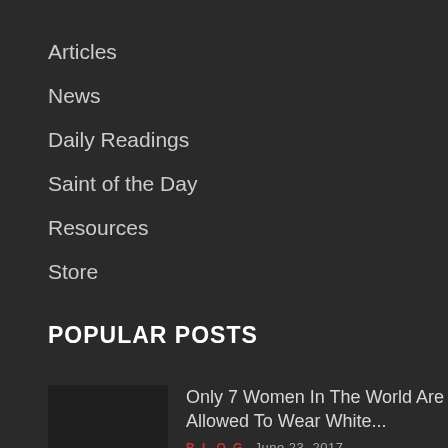Articles
News
Daily Readings
Saint of the Day
Resources
Store
POPULAR POSTS
Only 7 Women In The World Are Allowed To Wear White...
BLOG  June 23, 2017
This Bible Was Found Melted To A Piece Of Steel From...